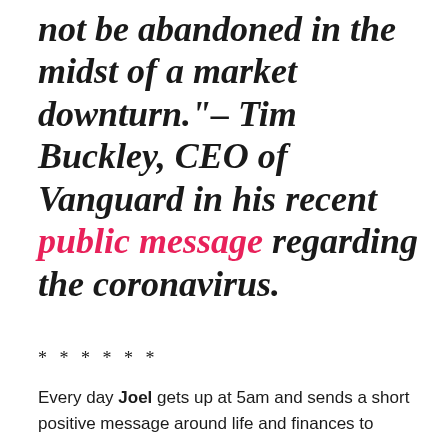not be abandoned in the midst of a market downturn." – Tim Buckley, CEO of Vanguard in his recent public message regarding the coronavirus.
* * * * * *
Every day Joel gets up at 5am and sends a short positive message around life and finances to